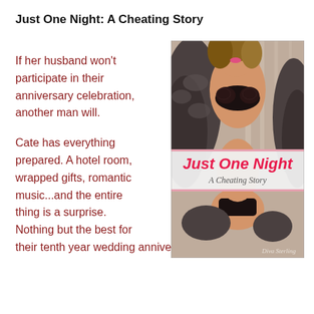Just One Night: A Cheating Story
If her husband won't participate in their anniversary celebration, another man will.
Cate has everything prepared. A hotel room, wrapped gifts, romantic music...and the entire thing is a surprise. Nothing but the best for their tenth year wedding anniversary.
[Figure (photo): Book cover of 'Just One Night: A Cheating Story' by Diva Sterling, showing a woman in lingerie and fur coat with pink and white title banner in the middle.]